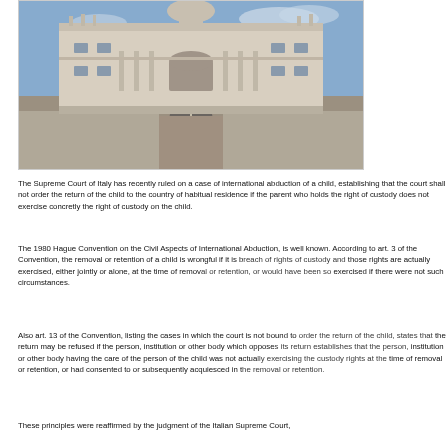[Figure (photo): Photograph of the Palace of Justice (Palazzo di Giustizia) in Rome, Italy — a large neoclassical building viewed from a wide road leading to its entrance, under a partly cloudy sky.]
The Supreme Court of Italy has recently ruled on a case of international abduction of a child, establishing that the court shall not order the return of the child to the country of habitual residence if the parent who holds the right of custody does not exercise concretly the right of custody on the child.
The 1980 Hague Convention on the Civil Aspects of International Abduction, is well known. According to art. 3 of the Convention, the removal or retention of a child is wrongful if it is breach of rights of custody and those rights are actually exercised, either jointly or alone, at the time of removal or retention, or would have been so exercised if there were not such circumstances.
Also art. 13 of the Convention, listing the cases in which the court is not bound to order the return of the child, states that the return may be refused if the person, institution or other body which opposes its return establishes that the person, institution or other body having the care of the person of the child was not actually exercising the custody rights at the time of removal or retention, or had consented to or subsequently acquiesced in the removal or retention.
These principles were reaffirmed by the judgment of the Italian Supreme Court,